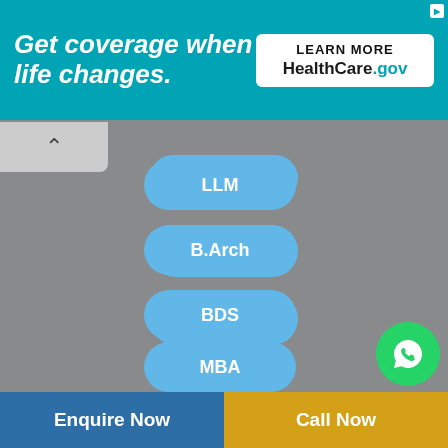[Figure (infographic): HealthCare.gov advertisement banner with teal background reading 'Get coverage when life changes. LEARN MORE HealthCare.gov']
LLM
B.Arch
BDS
MBA
B.P.Ed
MHA
BBA
Enquire Now   Call Now